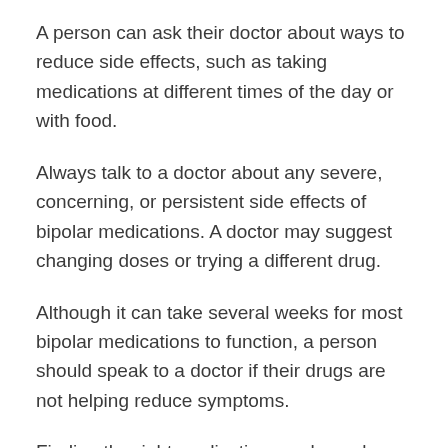A person can ask their doctor about ways to reduce side effects, such as taking medications at different times of the day or with food.
Always talk to a doctor about any severe, concerning, or persistent side effects of bipolar medications. A doctor may suggest changing doses or trying a different drug.
Although it can take several weeks for most bipolar medications to function, a person should speak to a doctor if their drugs are not helping reduce symptoms.
Finding the right medication can be a slow and frustrating process, but it is best to speak to a doctor before stopping or changing medications.